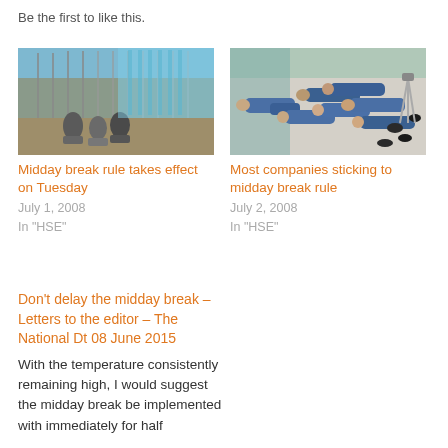Be the first to like this.
[Figure (photo): Construction workers on a building site with metal scaffolding and rebar in an urban setting]
Midday break rule takes effect on Tuesday
July 1, 2008
In "HSE"
[Figure (photo): Workers in blue uniforms resting/lying on the floor in a large indoor space]
Most companies sticking to midday break rule
July 2, 2008
In "HSE"
Don't delay the midday break – Letters to the editor – The National Dt 08 June 2015
With the temperature consistently remaining high, I would suggest the midday break be implemented with immediately for half…